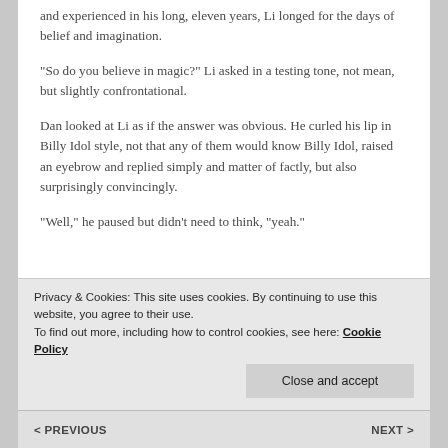and experienced in his long, eleven years, Li longed for the days of belief and imagination.
“So do you believe in magic?” Li asked in a testing tone, not mean, but slightly confrontational.
Dan looked at Li as if the answer was obvious. He curled his lip in Billy Idol style, not that any of them would know Billy Idol, raised an eyebrow and replied simply and matter of factly, but also surprisingly convincingly.
“Well,” he paused but didn’t need to think, “yeah.”
Privacy & Cookies: This site uses cookies. By continuing to use this website, you agree to their use.
To find out more, including how to control cookies, see here: Cookie Policy
Close and accept
< PREVIOUS    NEXT >